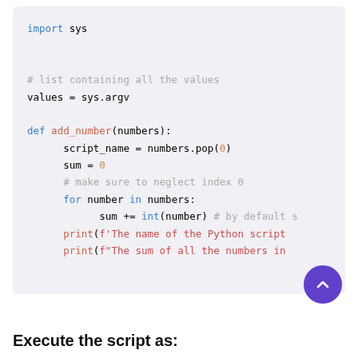[Figure (screenshot): Python code block showing import sys, values = sys.argv, def add_number(numbers): with body including script_name = numbers.pop(0), sum = 0, for loop with sum += int(number), print statements, and add_number(values) call]
Execute the script as: